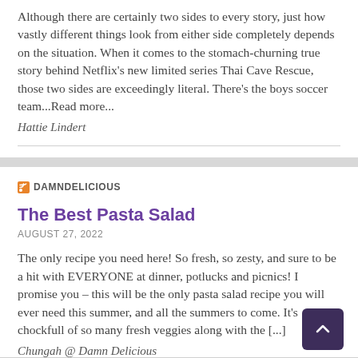Although there are certainly two sides to every story, just how vastly different things look from either side completely depends on the situation. When it comes to the stomach-churning true story behind Netflix's new limited series Thai Cave Rescue, those two sides are exceedingly literal. There's the boys soccer team...Read more...
Hattie Lindert
DAMNDELICIOUS
The Best Pasta Salad
AUGUST 27, 2022
The only recipe you need here! So fresh, so zesty, and sure to be a hit with EVERYONE at dinner, potlucks and picnics! I promise you – this will be the only pasta salad recipe you will ever need this summer, and all the summers to come. It's chockfull of so many fresh veggies along with the [...]
Chungah @ Damn Delicious